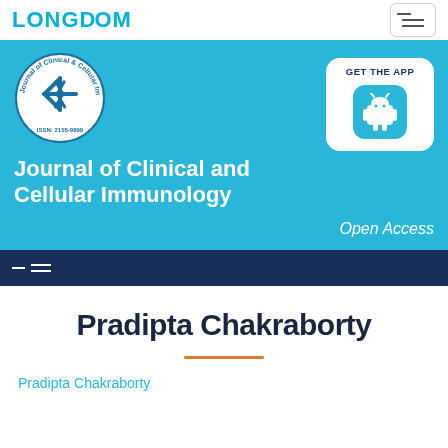LONGDOM
[Figure (logo): Journal of Clinical & Cellular Immunology circular logo with ISSN: 2155-9899]
[Figure (infographic): GET THE APP banner with Android icon button on blue background]
Journal of Clinical and Cellular Immunology
Open Access
Pradipta Chakraborty
Pradipta Chakraborty